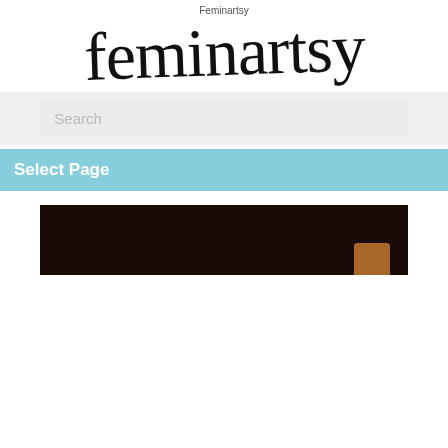Feminartsy
feminartsy
Search
Select Page
[Figure (photo): Dark brown photograph, partially visible, with an orange/brown accent element in the lower right corner.]